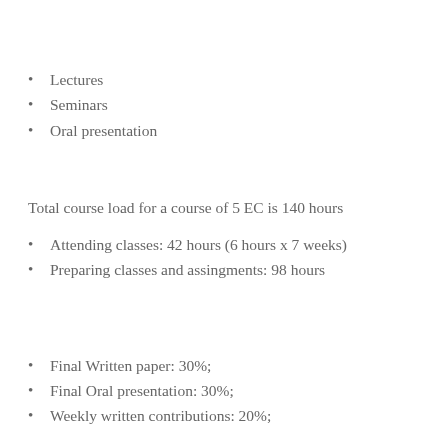Lectures
Seminars
Oral presentation
Total course load for a course of 5 EC is 140 hours
Attending classes: 42 hours (6 hours x 7 weeks)
Preparing classes and assingments: 98 hours
Final Written paper: 30%;
Final Oral presentation: 30%;
Weekly written contributions: 20%;